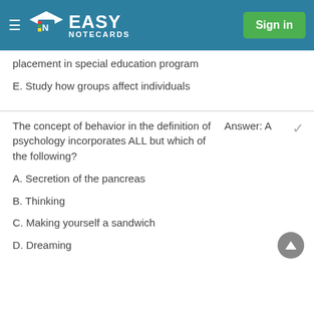Easy Notecards — Sign in
placement in special education program
E. Study how groups affect individuals
The concept of behavior in the definition of psychology incorporates ALL but which of the following?
Answer: A
A. Secretion of the pancreas
B. Thinking
C. Making yourself a sandwich
D. Dreaming